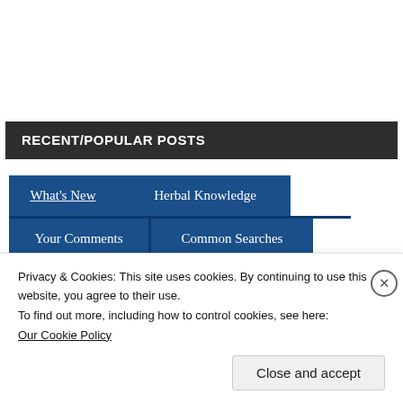RECENT/POPULAR POSTS
What's New
Herbal Knowledge
Your Comments
Common Searches
Privacy & Cookies: This site uses cookies. By continuing to use this website, you agree to their use.
To find out more, including how to control cookies, see here:
Our Cookie Policy
Close and accept